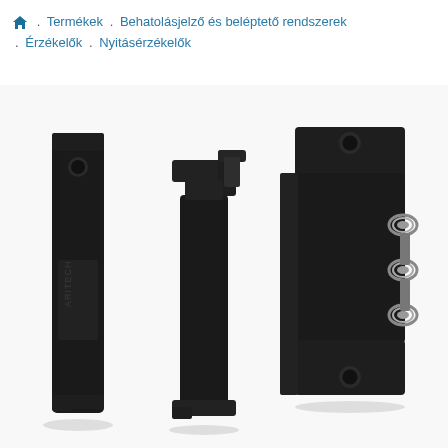🏠 . Termékek . Behatolásjelző és beléptető rendszerek . Érzékelők . Nyitásérzékelők
[Figure (photo): Photo of ARITECH brand door/window magnetic contact sensors (opening detectors). Three black plastic components shown: a long slim magnet piece with ARITECH logo and mounting hole on the left, a middle sensor body with bracket/hook at top, and on the right an open sensor unit revealing internal spring-loaded terminal contacts and mounting brackets with holes at top and bottom.]